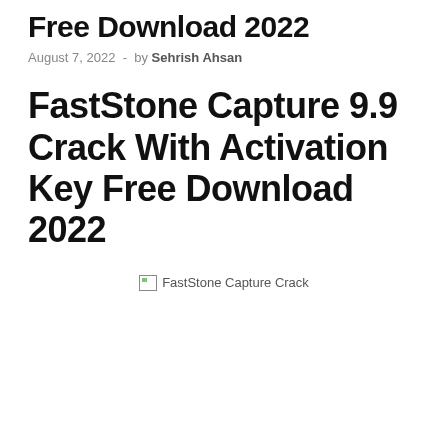Free Download 2022
August 7, 2022  -  by Sehrish Ahsan
FastStone Capture 9.9 Crack With Activation Key Free Download 2022
[Figure (other): Broken image placeholder showing 'FastStone Capture Crack' alt text with broken image icon]